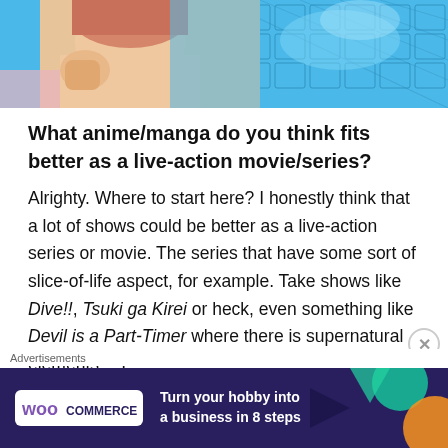[Figure (illustration): Partial view of an anime illustration showing a character near water with blue tiles in the background]
What anime/manga do you think fits better as a live-action movie/series?
Alrighty. Where to start here? I honestly think that a lot of shows could be better as a live-action series or movie. The series that have some sort of slice-of-life aspect, for example. Take shows like Dive!!, Tsuki ga Kirei or heck, even something like Devil is a Part-Timer where there is supernatural elements… I
Advertisements
[Figure (screenshot): WooCommerce advertisement banner with text 'Turn your hobby into a business in 8 steps' on a dark purple background with colorful geometric shapes]